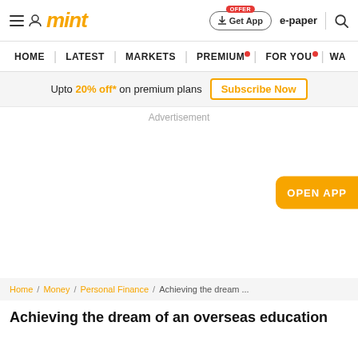mint | Get App | e-paper
HOME | LATEST | MARKETS | PREMIUM | FOR YOU | WA
Upto 20% off* on premium plans  Subscribe Now
Advertisement
OPEN APP
Home / Money / Personal Finance / Achieving the dream ...
Achieving the dream of an overseas education